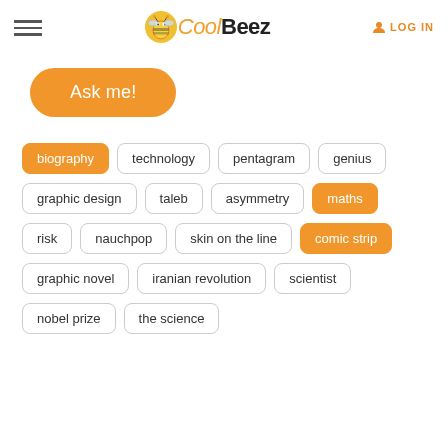[Figure (logo): CoolBeez logo with cartoon bee icon, 'Cool' in italic orange and 'Beez' in bold black]
LOG IN
Ask me!
biography
technology
pentagram
genius
graphic design
taleb
asymmetry
maths
risk
nauchpop
skin on the line
comic strip
graphic novel
iranian revolution
scientist
nobel prize
the science